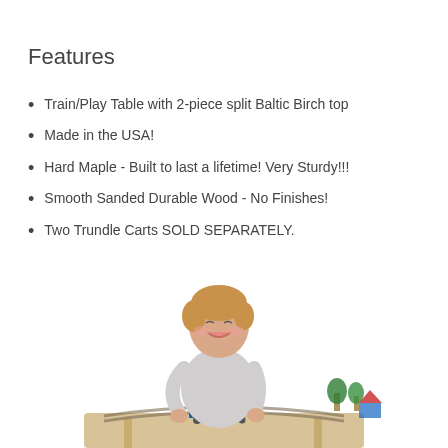Features
Train/Play Table with 2-piece split Baltic Birch top
Made in the USA!
Hard Maple - Built to last a lifetime! Very Sturdy!!!
Smooth Sanded Durable Wood - No Finishes!
Two Trundle Carts SOLD SEPARATELY.
[Figure (photo): A young toddler smiling and playing with a wooden train set on a play table, photographed from the waist up against a white background.]